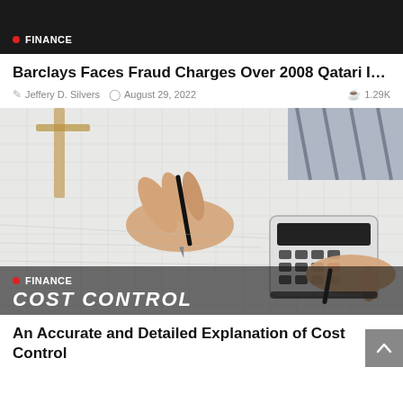FINANCE
Barclays Faces Fraud Charges Over 2008 Qatari Investment
Jeffery D. Silvers   August 29, 2022   1.29K
[Figure (photo): Person using a calculator on top of blueprint/engineering drawings, writing with a pen. Business/finance context.]
FINANCE
COST CONTROL
An Accurate and Detailed Explanation of Cost Control